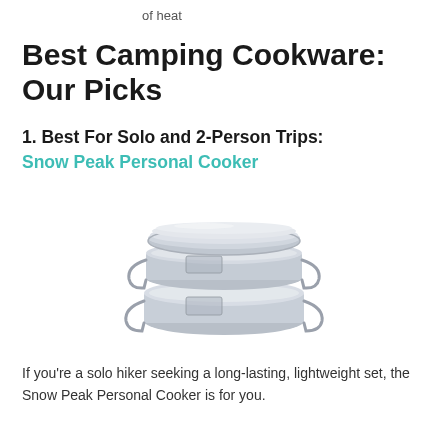of heat
Best Camping Cookware: Our Picks
1. Best For Solo and 2-Person Trips:
Snow Peak Personal Cooker
[Figure (photo): Photo of Snow Peak Personal Cooker — a stacked stainless steel pot and pan set with wire handles and a flat lid.]
If you're a solo hiker seeking a long-lasting, lightweight set, the Snow Peak Personal Cooker is for you.